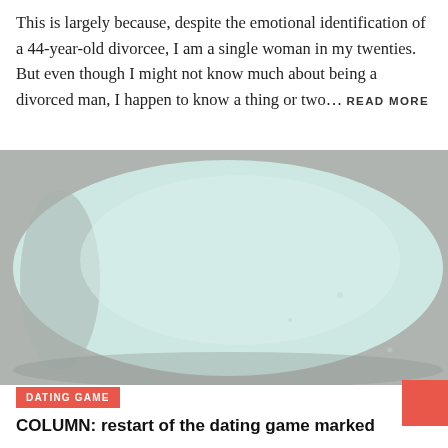This is largely because, despite the emotional identification of a 44-year-old divorcee, I am a single woman in my twenties. But even though I might not know much about being a divorced man, I happen to know a thing or two... READ MORE
[Figure (photo): Close-up photo of what appears to be a pale blue-green liquid or surface in a round container, viewed from above at slight angle]
DATING GAME
COLUMN: restart of the dating game marked